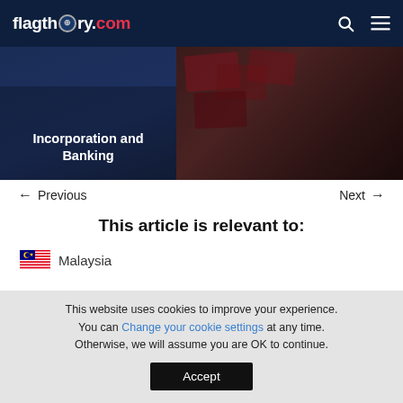flagtheory.com
[Figure (screenshot): Banner image showing 'Incorporation and Banking' text on dark blue background on left, and passport/card images on dark background on right]
← Previous   Next →
This article is relevant to:
🇲🇾 Malaysia
This website uses cookies to improve your experience. You can Change your cookie settings at any time. Otherwise, we will assume you are OK to continue. Accept